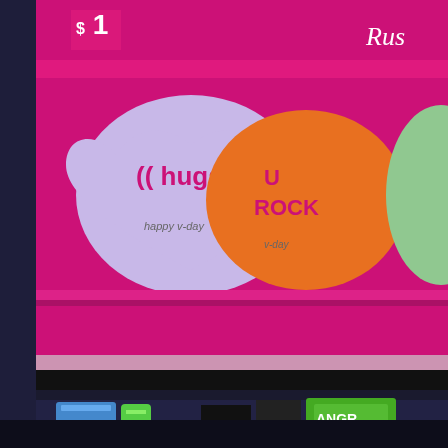[Figure (photo): Photo of Valentine's Day candy display rack with heart-shaped candy boxes priced at $1 each. Pink display shelves show heart-shaped candy boxes with messages '((hugs))' in red on purple/lavender heart, and 'U ROCK' in red on orange heart, with 'happy v-day' text. Lower shelves show red heart-shaped Russell Stover chocolate boxes.]
Valentine's Day candy now comes in var
[Figure (photo): Partial view of another product display, showing what appears to be Angry Birds merchandise in green packaging, along with other colorful items.]